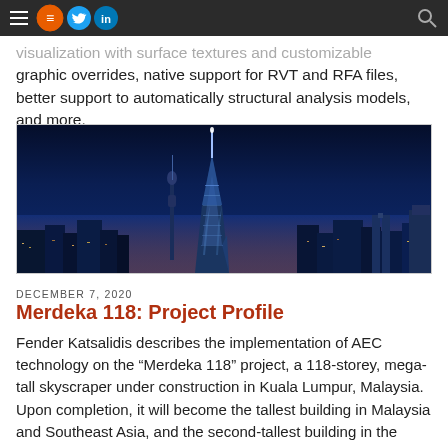Navigation bar with menu, social icons, and search
visualization with surface textures and customizable graphic overrides, native support for RVT and RFA files, better support to automatically structural analysis models, and more.
[Figure (photo): Night-time cityscape of Kuala Lumpur featuring the Merdeka 118 skyscraper illuminated in blue-white lights against a dark blue sky, with the city skyline visible in the background.]
DECEMBER 7, 2020
Merdeka 118: Project Profile
Fender Katsalidis describes the implementation of AEC technology on the “Merdeka 118” project, a 118-storey, mega-tall skyscraper under construction in Kuala Lumpur, Malaysia. Upon completion, it will become the tallest building in Malaysia and Southeast Asia, and the second-tallest building in the world.